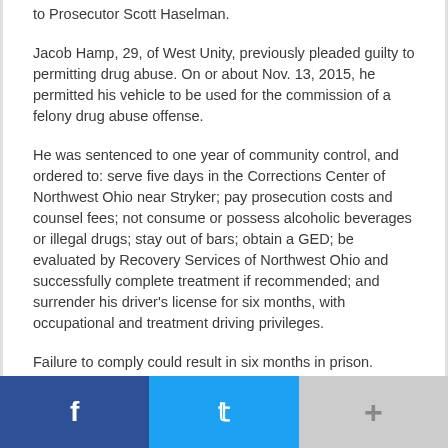to Prosecutor Scott Haselman.
Jacob Hamp, 29, of West Unity, previously pleaded guilty to permitting drug abuse. On or about Nov. 13, 2015, he permitted his vehicle to be used for the commission of a felony drug abuse offense.
He was sentenced to one year of community control, and ordered to: serve five days in the Corrections Center of Northwest Ohio near Stryker; pay prosecution costs and counsel fees; not consume or possess alcoholic beverages or illegal drugs; stay out of bars; obtain a GED; be evaluated by Recovery Services of Northwest Ohio and successfully complete treatment if recommended; and surrender his driver's license for six months, with occupational and treatment driving privileges.
Failure to comply could result in six months in prison.
[Figure (infographic): Social media share bar with three buttons: Facebook (blue), Twitter (cyan), and a More/plus button (gray)]